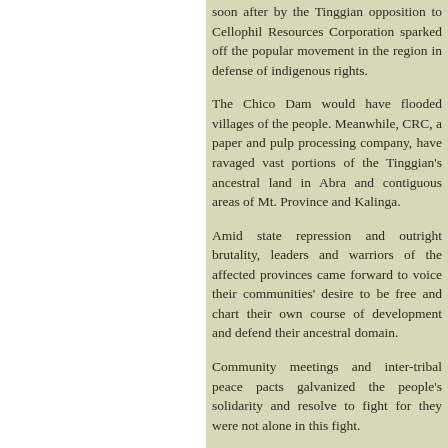soon after by the Tinggian opposition to Cellophil Resources Corporation sparked off the popular movement in the region in defense of indigenous people's rights.
The Chico Dam would have flooded villages of the people. Meanwhile, CRC, a paper and pulp processing company, have ravaged vast portions of the Tinggian's ancestral land in Abra and contiguous areas of Mt. Province and Kalinga.
Amid state repression and outright brutality, leaders and warriors of the affected provinces came forward to voice their communities' desire to be free and chart their own course of development and defend their ancestral domain.
Community meetings and inter-tribal peace pacts galvanized the people's solidarity and resolve to fight for they were not alone in this fight.